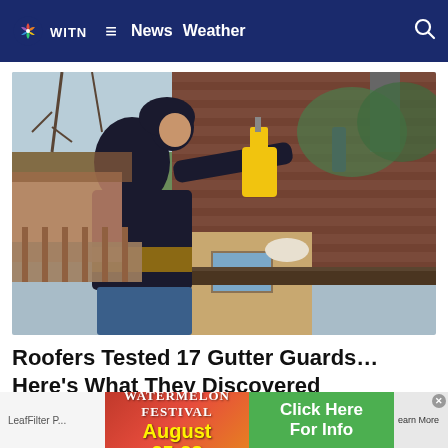WITN News Weather
[Figure (photo): A worker in a dark hoodie and tool belt using a power drill on a residential roof gutter, with trees and a house in the background]
Roofers Tested 17 Gutter Guards… Here's What They Discovered
[Figure (infographic): Advertisement banner: Winterville NC Watermelon Festival August 25-28, Click Here For Info, LeafFilter P... Learn More]